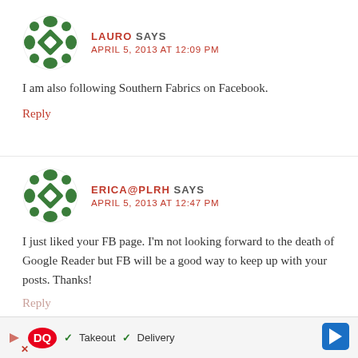[Figure (illustration): Green decorative avatar icon for user Lauro]
LAURO SAYS
APRIL 5, 2013 AT 12:09 PM
I am also following Southern Fabrics on Facebook.
Reply
[Figure (illustration): Green decorative avatar icon for user ERICA@PLRH]
ERICA@PLRH SAYS
APRIL 5, 2013 AT 12:47 PM
I just liked your FB page. I'm not looking forward to the death of Google Reader but FB will be a good way to keep up with your posts. Thanks!
Reply
[Figure (screenshot): Dairy Queen advertisement banner: DQ logo with checkmarks for Takeout and Delivery, blue arrow navigation icon]